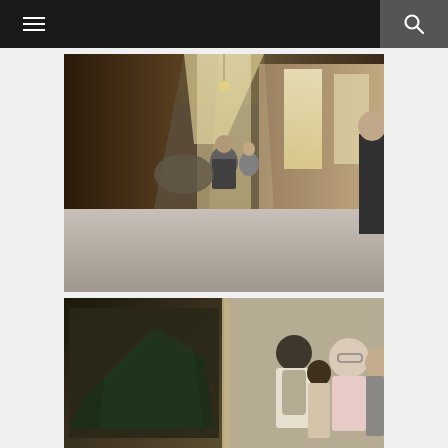Navigation header with menu and search buttons
[Figure (photo): Interior of an ornate museum corridor (likely Vatican Museums) with gilded decorated ceiling and walls, tall windows letting in sunlight, and multiple tourists walking through the gallery. Marble floor visible, with paintings and decorative elements on the walls.]
[Figure (photo): Close-up of museum visitors looking at exhibits. A young man with a backpack is visible in the center, along with an older woman with glasses wearing a pink shirt, and other visitors. A large painting or fresco is visible in the background on the left.]